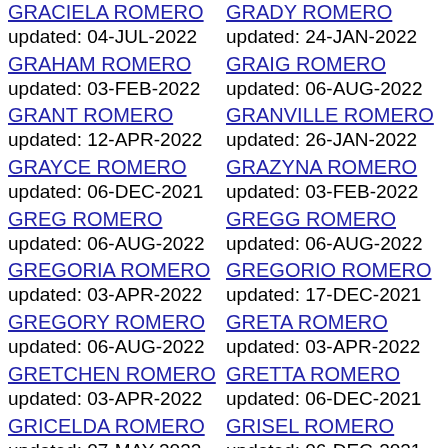GRACIELA ROMERO
updated: 04-JUL-2022
GRAHAM ROMERO
updated: 03-FEB-2022
GRANT ROMERO
updated: 12-APR-2022
GRAYCE ROMERO
updated: 06-DEC-2021
GREG ROMERO
updated: 06-AUG-2022
GREGORIA ROMERO
updated: 03-APR-2022
GREGORY ROMERO
updated: 06-AUG-2022
GRETCHEN ROMERO
updated: 03-APR-2022
GRICELDA ROMERO
updated: 07-MAY-2022
GRISELDA ROMERO
updated: 08-JUL-2022
GRADY ROMERO
updated: 24-JAN-2022
GRAIG ROMERO
updated: 06-AUG-2022
GRANVILLE ROMERO
updated: 26-JAN-2022
GRAZYNA ROMERO
updated: 03-FEB-2022
GREGG ROMERO
updated: 06-AUG-2022
GREGORIO ROMERO
updated: 17-DEC-2021
GRETA ROMERO
updated: 03-APR-2022
GRETTA ROMERO
updated: 06-DEC-2021
GRISEL ROMERO
updated: 06-DEC-2021
GROVER ROMERO
updated: 10-DEC-2021